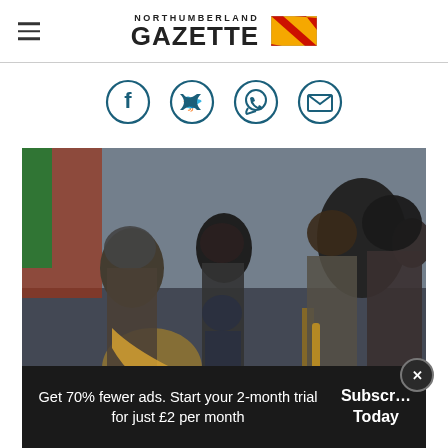NORTHUMBERLAND GAZETTE
[Figure (illustration): Social media share icons row: Facebook, Twitter, WhatsApp, Email — dark teal circle outline style]
[Figure (photo): Five musicians in eclectic costumes playing brass instruments and saxophone outdoors at what appears to be a festival, with a ferris wheel visible in the background and overcast sky]
Get 70% fewer ads. Start your 2-month trial for just £2 per month
Subscribe Today